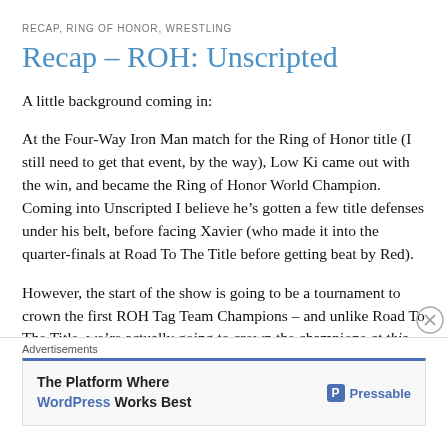RECAP, RING OF HONOR, WRESTLING
Recap – ROH: Unscripted
A little background coming in:
At the Four-Way Iron Man match for the Ring of Honor title (I still need to get that event, by the way), Low Ki came out with the win, and became the Ring of Honor World Champion. Coming into Unscripted I believe he's gotten a few title defenses under his belt, before facing Xavier (who made it into the quarter-finals at Road To The Title before getting beat by Red).
However, the start of the show is going to be a tournament to crown the first ROH Tag Team Champions – and unlike Road To The Title, we're actually going to crown the champions at this show!
On the card, hitting the tournament match as well as d
[Figure (other): Pressable advertisement banner at the bottom of the page. Shows 'Advertisements' label, then an ad for Pressable with text 'The Platform Where WordPress Works Best' and the Pressable logo.]